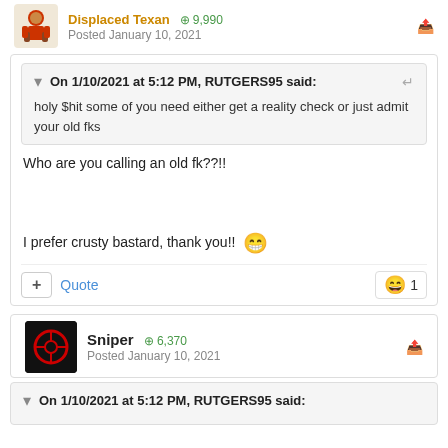Displaced Texan · 9,990 · Posted January 10, 2021
On 1/10/2021 at 5:12 PM, RUTGERS95 said: holy $hit some of you need either get a reality check or just admit your old fks
Who are you calling an old fk??!!
I prefer crusty bastard, thank you!! 😂
+ Quote  😄 1
Sniper · 6,370 · Posted January 10, 2021
On 1/10/2021 at 5:12 PM, RUTGERS95 said: